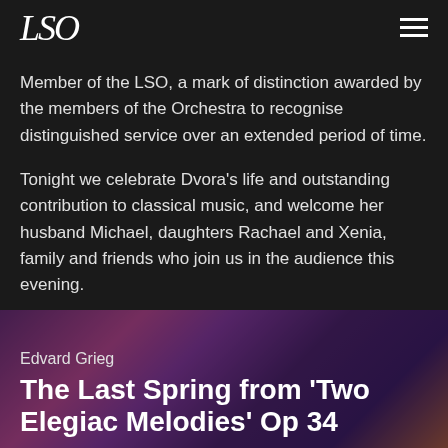LSO
Member of the LSO, a mark of distinction awarded by the members of the Orchestra to recognise distinguished service over an extended period of time.
Tonight we celebrate Dvora’s life and outstanding contribution to classical music, and welcome her husband Michael, daughters Rachael and Xenia, family and friends who join us in the audience this evening.
[Figure (photo): Abstract colourful background image with purple, pink and red tones, used as backdrop for the next programme item]
Edvard Grieg
The Last Spring from 'Two Elegiac Melodies' Op 34